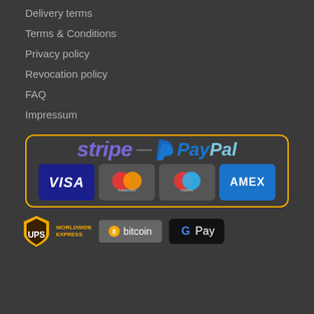Delivery terms
Terms & Conditions
Privacy policy
Revocation policy
FAQ
Impressum
[Figure (logo): Payment provider logos: Stripe, PayPal, Visa, Mastercard, Maestro, AMEX]
[Figure (logo): UPS Worldwide Express logo, Bitcoin logo, Google Pay logo]